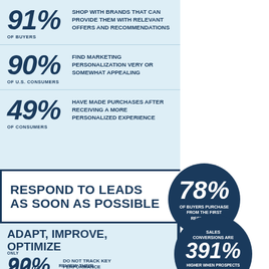[Figure (infographic): 91% of buyers shop with brands that can provide them with relevant offers and recommendations]
[Figure (infographic): 90% of U.S. consumers find marketing personalization very or somewhat appealing]
[Figure (infographic): 49% of consumers have made purchases after receiving a more personalized experience]
RESPOND TO LEADS AS SOON AS POSSIBLE
[Figure (infographic): 78% of buyers purchase from the first responder]
ADAPT, IMPROVE, OPTIMIZE
[Figure (infographic): 92% of organizations do not track key performance indicators]
[Figure (infographic): 391% sales conversions are higher when prospects are contacted within one minute]
ONLY 20% REVIEW THEIR STRATEGIES
IF SELLING IS HARD BUYING